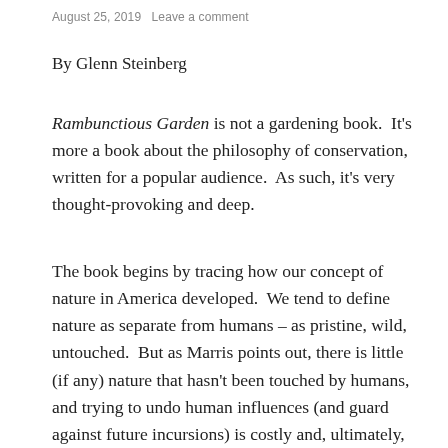August 25, 2019   Leave a comment
By Glenn Steinberg
Rambunctious Garden is not a gardening book.  It's more a book about the philosophy of conservation, written for a popular audience.  As such, it's very thought-provoking and deep.
The book begins by tracing how our concept of nature in America developed.  We tend to define nature as separate from humans – as pristine, wild, untouched.  But as Marris points out, there is little (if any) nature that hasn't been touched by humans, and trying to undo human influences (and guard against future incursions) is costly and, ultimately, futile.  Humans are also themselves part of nature –